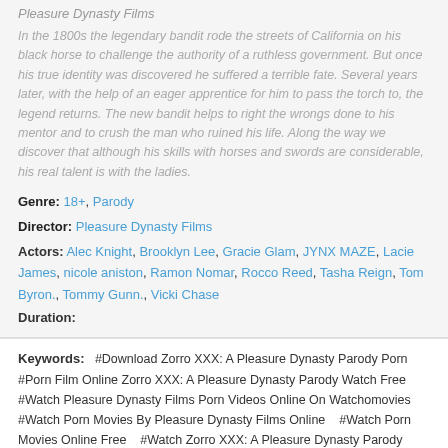Pleasure Dynasty Films
In the 1800s the legendary bandit rode the streets of California on his black horse to challenge the authority of a ruthless government. But once his true identity was discovered he suffered a terrible fate. Several years later, with the help of an eager apprentice for him to pass the torch to, the legend returns. The new bandit helps to right the wrongs done to his mentor and to crush the man who ruined his life. Along the way we discover that although his skills with horses and swords are considerable, his real talent is with the ladies.
Genre: 18+, Parody
Director: Pleasure Dynasty Films
Actors: Alec Knight, Brooklyn Lee, Gracie Glam, JYNX MAZE, Lacie James, nicole aniston, Ramon Nomar, Rocco Reed, Tasha Reign, Tom Byron., Tommy Gunn., Vicki Chase
Duration:
Keywords: #Download Zorro XXX: A Pleasure Dynasty Parody Porn #Porn Film Online Zorro XXX: A Pleasure Dynasty Parody Watch Free #Watch Pleasure Dynasty Films Porn Videos Online On Watchomovies #Watch Porn Movies By Pleasure Dynasty Films Online #Watch Porn Movies Online Free #Watch Zorro XXX: A Pleasure Dynasty Parody Free Online Porn #Watch Zorro XXX: A Pleasure Dynasty Parody Full Movie #Watch Zorro XXX: A Pleasure Dynasty Parody Online Free #Zorro XXX: A Pleasure Dynasty Parody Porn Movie Watch Online On Watchomovies